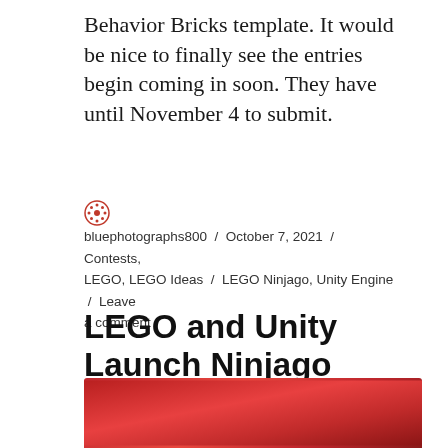Behavior Bricks template. It would be nice to finally see the entries begin coming in soon. They have until November 4 to submit.
bluephotographs800 / October 7, 2021 / Contests, LEGO, LEGO Ideas / LEGO Ninjago, Unity Engine / Leave a comment
LEGO and Unity Launch Ninjago Microgame Development Contest on LEGO Ideas
[Figure (photo): Red gradient background image, partially visible at the bottom of the page, appearing to be the header image for the LEGO and Unity Ninjago Microgame Development Contest article.]